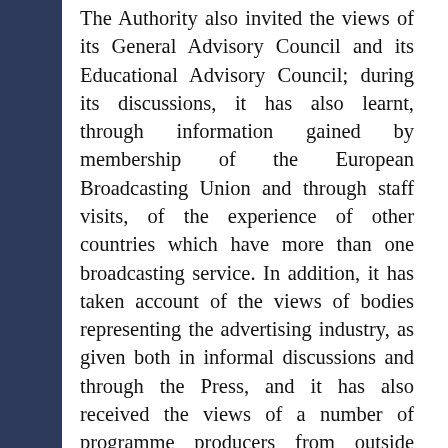The Authority also invited the views of its General Advisory Council and its Educational Advisory Council; during its discussions, it has also learnt, through information gained by membership of the European Broadcasting Union and through staff visits, of the experience of other countries which have more than one broadcasting service. In addition, it has taken account of the views of bodies representing the advertising industry, as given both in informal discussions and through the Press, and it has also received the views of a number of programme producers from outside Independent Television. These contacts,